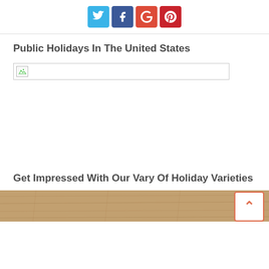Social media share buttons: Twitter, Facebook, Google+, Pinterest
Public Holidays In The United States
[Figure (other): Broken image placeholder — a wide rectangular box with a small broken image icon in the top-left corner]
Get Impressed With Our Vary Of Holiday Varieties
[Figure (photo): Partial view of a wooden surface photo at the bottom of the page, with a back-to-top button (up arrow in orange border) overlaid in the bottom-right corner]